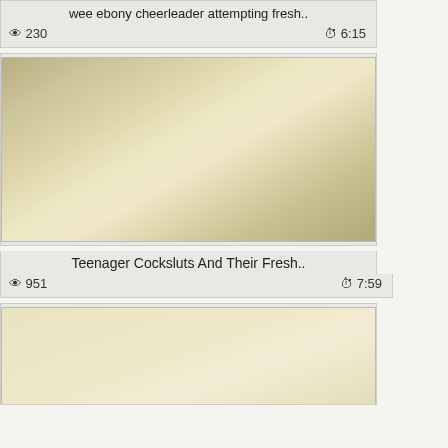wee ebony cheerleader attempting fresh..
👁 230   🕐 6:15
[Figure (photo): Video thumbnail showing teenagers]
Teenager Cocksluts And Their Fresh..
👁 951   🕐 7:59
[Figure (photo): Partial video thumbnail, light yellowish background]